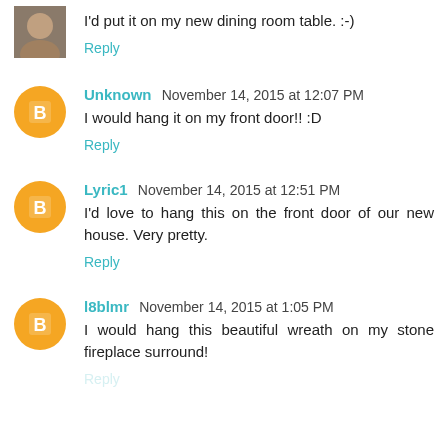I'd put it on my new dining room table. :-)
Reply
Unknown November 14, 2015 at 12:07 PM
I would hang it on my front door!! :D
Reply
Lyric1 November 14, 2015 at 12:51 PM
I'd love to hang this on the front door of our new house. Very pretty.
Reply
l8blmr November 14, 2015 at 1:05 PM
I would hang this beautiful wreath on my stone fireplace surround!
Reply